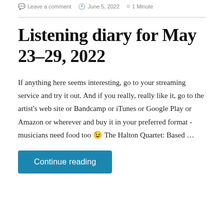Leave a comment   June 5, 2022   1 Minute
Listening diary for May 23-29, 2022
If anything here seems interesting, go to your streaming service and try it out. And if you really, really like it, go to the artist's web site or Bandcamp or iTunes or Google Play or Amazon or wherever and buy it in your preferred format - musicians need food too 😉 The Halton Quartet: Based …
Continue reading